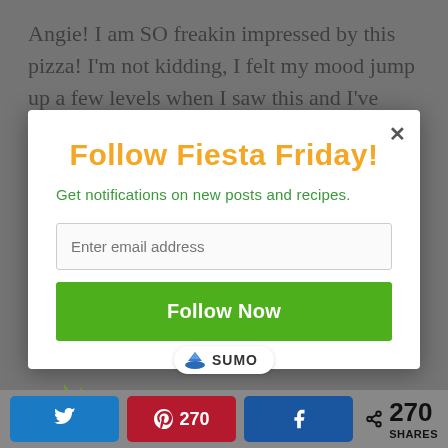Angie! I am SO freakin impressed by this pizza! I'm not kidding, I felt my mood jump up a few levels when I saw this and I've been down lately so I sincerely thank you for that. I got
Follow Fiesta Friday!
Get notifications on new posts and recipes.
Enter email address
Follow Now
[Figure (logo): SUMO badge with crown icon]
[Figure (logo): The Novice Gardener plant logo with text THE NOVICE GARDENER SAYS]
270 SHARES